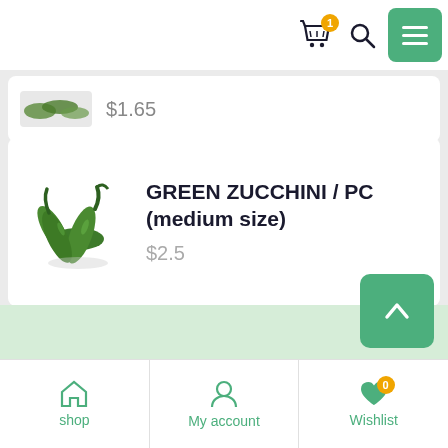Navigation bar with basket (1 item), search, and menu icons
$1.65
GREEN ZUCCHINI / PC (medium size)
$2.5
[Figure (other): Green zucchini vegetables product photo]
shop | My account | Wishlist (0)